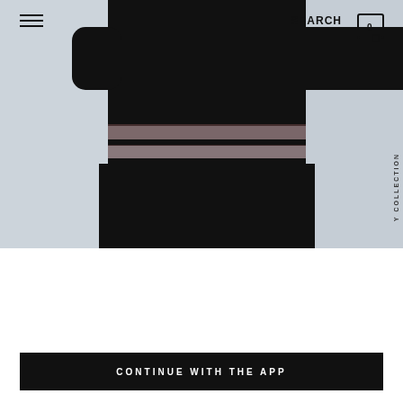[Figure (photo): Fashion photo of a person wearing a black long-sleeve top and skirt with sheer mesh panel cutouts at the waist, set against a light grey background. A vertical text label reading 'COLLECTION' appears on the right side.]
SEARCH  0
USE OUR APP
AND ENJOY ITS BENEFITS AND FEATURES
CONTINUE WITH THE APP